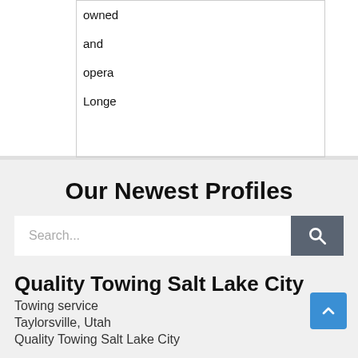| owned |
| and |
| opera |
| Longe |
Our Newest Profiles
[Figure (screenshot): Search bar with text placeholder 'Search...' and a dark grey search button with magnifying glass icon]
Quality Towing Salt Lake City
Towing service
Taylorsville, Utah
Quality Towing Salt Lake City